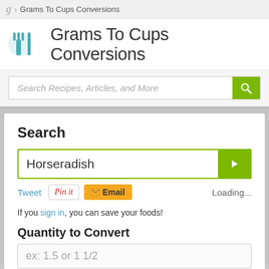g › Grams To Cups Conversions
Grams To Cups Conversions
Search Recipes, Articles, and More
Search
Horseradi sh
Loading...
Tweet  Pin it  Email
If you sign in, you can save your foods!
Quantity to Convert
ex: 1.5 or 1 1/2